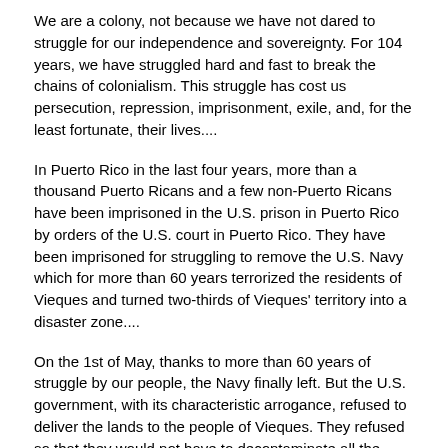We are a colony, not because we have not dared to struggle for our independence and sovereignty. For 104 years, we have struggled hard and fast to break the chains of colonialism. This struggle has cost us persecution, repression, imprisonment, exile, and, for the least fortunate, their lives....
In Puerto Rico in the last four years, more than a thousand Puerto Ricans and a few non-Puerto Ricans have been imprisoned in the U.S. prison in Puerto Rico by orders of the U.S. court in Puerto Rico. They have been imprisoned for struggling to remove the U.S. Navy which for more than 60 years terrorized the residents of Vieques and turned two-thirds of Vieques' territory into a disaster zone....
On the 1st of May, thanks to more than 60 years of struggle by our people, the Navy finally left. But the U.S. government, with its characteristic arrogance, refused to deliver the lands to the people of Vieques. They refused so that they would not have to decontaminate all the surroundings contaminated by the Navy, and so that they would not have to make reparations to the victims of all the criminal and noxious activities which the Navy performed. This means that the struggle in Vieques continues.
We will continue struggling in Vieques, in Puerto Rico, and in the Puerto Rican diaspora, whatever it costs. We will struggle until our people can exercise our right to self-determination without any interference by the U.S. government, and until